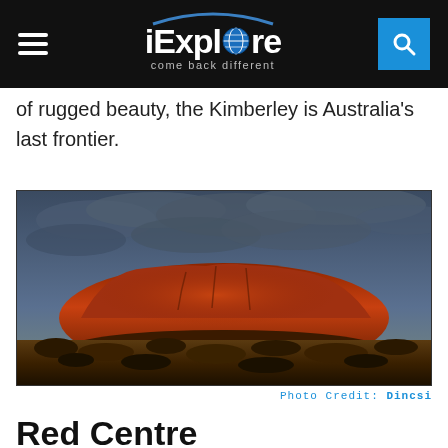iExplore — come back different
of rugged beauty, the Kimberley is Australia's last frontier.
[Figure (photo): Uluru (Ayers Rock) at sunset with dramatic cloudy sky and red desert scrubland in the foreground]
Photo Credit: Dincsi
Red Centre